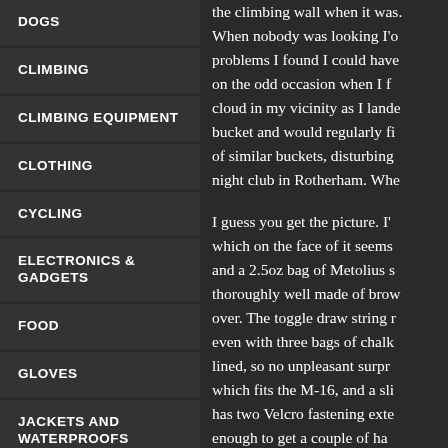DOGS
CLIMBING
CLIMBING EQUIPMENT
CLOTHING
CYCLING
ELECTRONICS & GADGETS
FOOD
GLOVES
JACKETS AND WATERPROOFS
KAYAKING
KIDS
LIGHTWEIGHT
the climbing wall when it was. When nobody was looking I'o problems I found I could have on the odd occasion when I f cloud in my vicinity as I lande bucket and would regularly fi of similar buckets, disturbing night club in Rotherham. Wh
I guess you get the picture. I' which on the face of it seems and a 2.5oz bag of Metolius s thoroughly well made of brow over. The toggle draw string r even with three bags of chalk lined, so no unpleasant surp which fits the M-16, and a sli has two Velcro fastening exte enough to get a couple of ha design flaws that I have foun
Of note, the M-16 brush is by was originally used to clean, the best brands of chalk out t